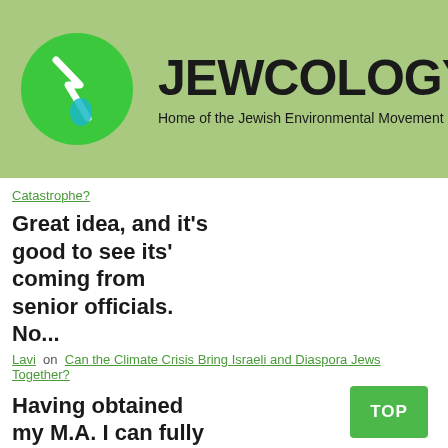[Figure (logo): Jewcology.org website header with green circular logo containing a lightning bolt and water drop symbol, site name JEWCOLOGY.ORG in large bold text, and tagline Home of the Jewish Environmental Movement]
Catastrophe?
Great idea, and it's good to see its' coming from senior officials. No...
Lavi on Can the Climate Crisis Bring Israeli and Diaspora Jews Together?
Having obtained my M.A. I can fully appreciate what